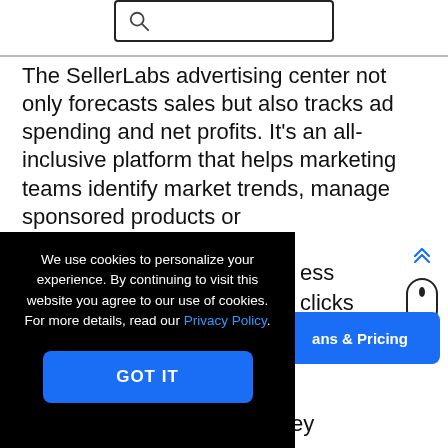[Figure (screenshot): Search bar with magnifying glass icon]
The SellerLabs advertising center not only forecasts sales but also tracks ad spending and net profits. It’s an all-inclusive platform that helps marketing teams identify market trends, manage sponsored products or
We use cookies to personalize your experience. By continuing to visit this website you agree to our use of cookies. For more details, read our Privacy Policy.
GOT IT
ess clicks tion
ans & Pricing
monitoring inventories so they